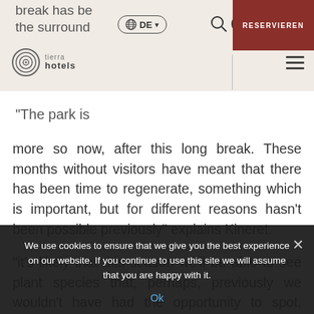tierra hotels — DE — RESERVIEREN
break has be
the surround
“The park is
more so now, after this long break. These months without visitors have meant that there has been time to regenerate, something which is important, but for different reasons hasn’t been possible previously” explains Kineret.
“it’s likely that this season we’ll be able to see plant species that, perhaps, previously we wouldn’t have had the opportunity to spot, because of the constant transit of people. All
We use cookies to ensure that we give you the best experience on our website. If you continue to use this site we will assume that you are happy with it.
Ok